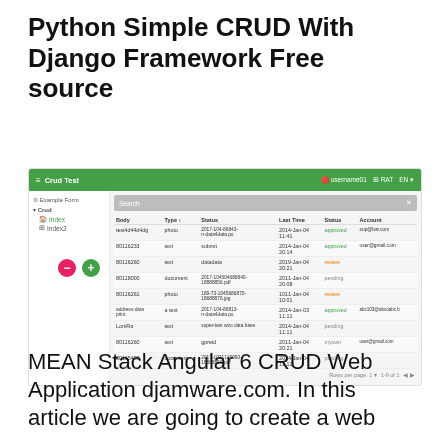Python Simple CRUD With Django Framework Free source
[Figure (screenshot): Screenshot of a Django-based CRUD web application called 'Crud Test' showing a data table with columns for Body, Type, Status, Last Time, Status, Account. Green navigation bar at top with sidebar showing Example Form, Crud, Index, Index2 links. Table has 9 rows of data with pagination controls at bottom. Red minus and green plus action buttons below the table.]
MEAN Stack Angular 6 CRUD Web Application djamware.com. In this article we are going to create a web